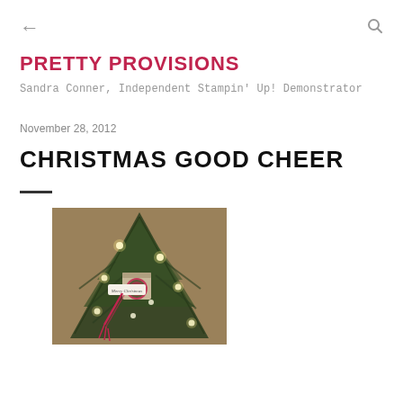← (back) | (search icon)
PRETTY PROVISIONS
Sandra Conner, Independent Stampin' Up! Demonstrator
November 28, 2012
CHRISTMAS GOOD CHEER
[Figure (photo): A Christmas tree with lights and a decorative box/gift hanging on the branches with a red ribbon and a Merry Christmas tag]